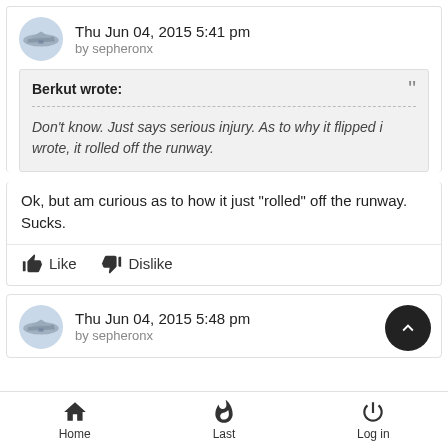Thu Jun 04, 2015 5:41 pm by sepheronx
Berkut wrote: Don't know. Just says serious injury. As to why it flipped i wrote, it rolled off the runway.
Ok, but am curious as to how it just "rolled" off the runway. Sucks.
Like  Dislike
Thu Jun 04, 2015 5:48 pm by sepheronx
Home  Last  Log in